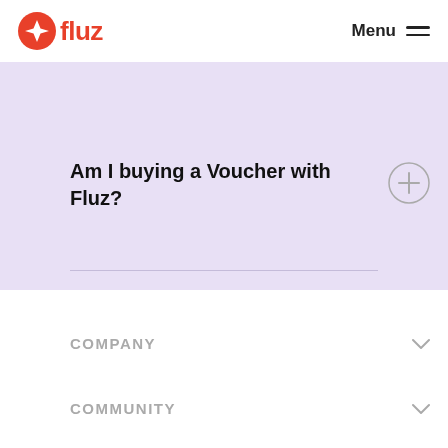Guide to Vouchers
[Figure (logo): Fluz logo: orange circle with white compass/star icon, followed by 'fluz' in orange bold text]
Menu
Am I buying a Voucher with Fluz?
COMPANY
COMMUNITY